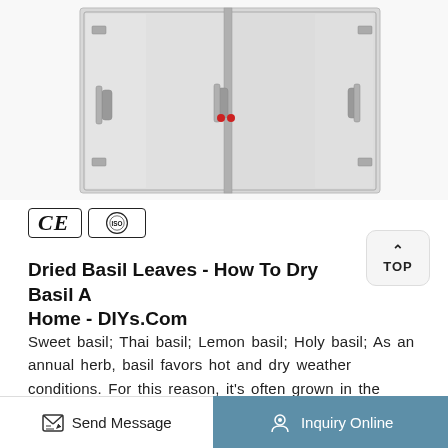[Figure (photo): Industrial stainless steel drying oven/cabinet with double doors and handles, front view showing closed doors with latches.]
[Figure (logo): CE certification badge and ISO certification badge side by side in bordered rectangles.]
Dried Basil Leaves - How To Dry Basil At Home - DIYs.Com
Sweet basil; Thai basil; Lemon basil; Holy basil; As an annual herb, basil favors hot and dry weather conditions. For this reason, it's often grown in the warm Southern regions of the country. It is sensitive to cold temperatures so the
Send Message
Inquiry Online